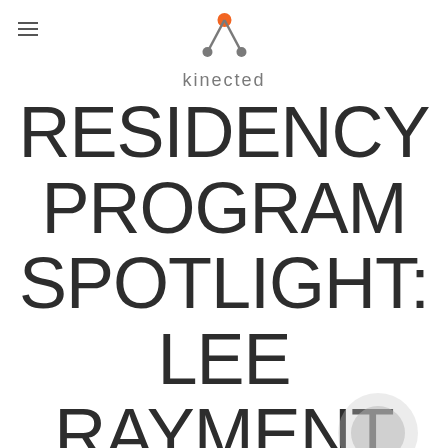kinected
RESIDENCY PROGRAM SPOTLIGHT: LEE RAYMENT